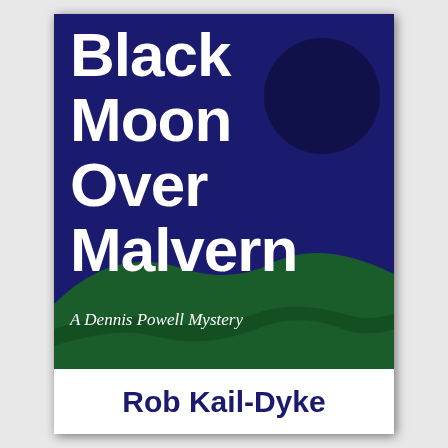[Figure (illustration): Book cover for 'Black Moon Over Malvern' by Rob Kail-Dyke. Dark navy blue background with a large dark circle (black moon) in the upper right. Green rolling hills silhouette in the lower portion. White bold title text reads 'Black Moon Over Malvern'. Italic subtitle 'A Dennis Powell Mystery'. Author name 'Rob Kail-Dyke' at the bottom in a white band.]
Black Moon Over Malvern
A Dennis Powell Mystery
Rob Kail-Dyke